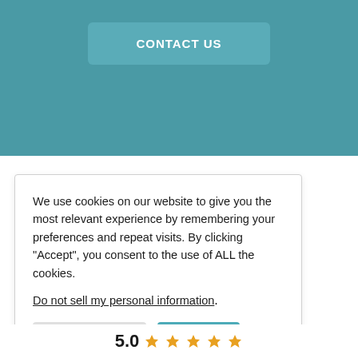[Figure (screenshot): Teal/blue-green background section with a 'CONTACT US' button centered near the top]
We use cookies on our website to give you the most relevant experience by remembering your preferences and repeat visits. By clicking “Accept”, you consent to the use of ALL the cookies.
Do not sell my personal information.
Cookie Settings
Accept
5.0